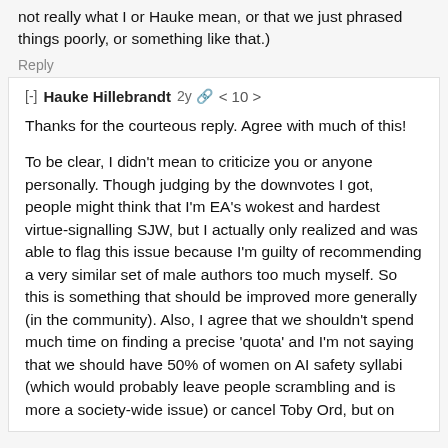not really what I or Hauke mean, or that we just phrased things poorly, or something like that.)
Reply
[-] Hauke Hillebrandt  2y  < 10 >
Thanks for the courteous reply. Agree with much of this!
To be clear, I didn't mean to criticize you or anyone personally. Though judging by the downvotes I got, people might think that I'm EA's wokest and hardest virtue-signalling SJW, but I actually only realized and was able to flag this issue because I'm guilty of recommending a very similar set of male authors too much myself. So this is something that should be improved more generally (in the community). Also, I agree that we shouldn't spend much time on finding a precise 'quota' and I'm not saying that we should have 50% of women on AI safety syllabi (which would probably leave people scrambling and is more a society-wide issue) or cancel Toby Ord, but on